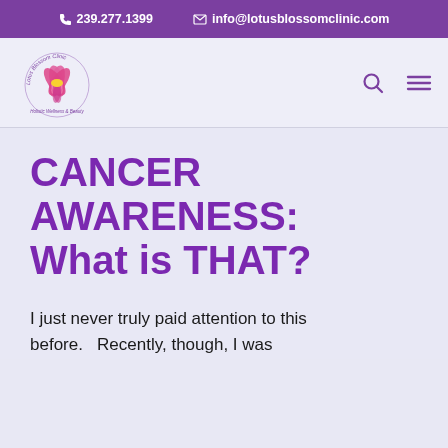239.277.1399   info@lotusblossomclinic.com
[Figure (logo): Lotus Blossom Clinic logo with pink lotus flower and circular text, holistic wellness & beauty]
CANCER AWARENESS: What is THAT?
I just never truly paid attention to this before.   Recently, though, I was